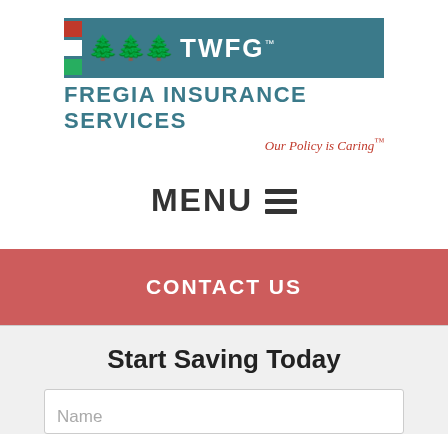[Figure (logo): TWFG Fregia Insurance Services logo with teal banner, tree icons, stripe accent, company name and tagline]
MENU ≡
CONTACT US
Start Saving Today
Name